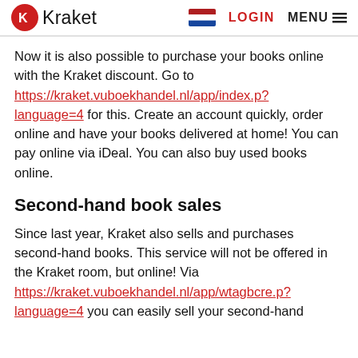Kraket  LOGIN  MENU
Now it is also possible to purchase your books online with the Kraket discount. Go to https://kraket.vuboekhandel.nl/app/index.p?language=4 for this. Create an account quickly, order online and have your books delivered at home! You can pay online via iDeal. You can also buy used books online.
Second-hand book sales
Since last year, Kraket also sells and purchases second-hand books. This service will not be offered in the Kraket room, but online! Via https://kraket.vuboekhandel.nl/app/wtagbcre.p?language=4 you can easily sell your second-hand